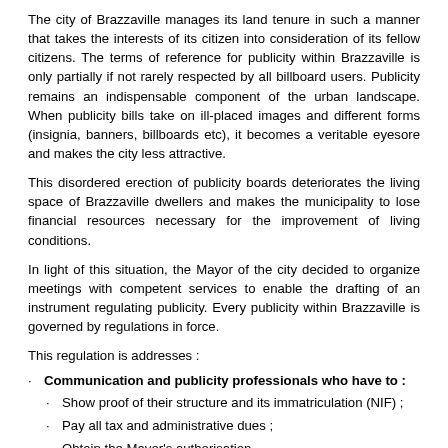The city of Brazzaville manages its land tenure in such a manner that takes the interests of its citizen into consideration of its fellow citizens. The terms of reference for publicity within Brazzaville is only partially if not rarely respected by all billboard users. Publicity remains an indispensable component of the urban landscape. When publicity bills take on ill-placed images and different forms (insignia, banners, billboards etc), it becomes a veritable eyesore and makes the city less attractive.
This disordered erection of publicity boards deteriorates the living space of Brazzaville dwellers and makes the municipality to lose financial resources necessary for the improvement of living conditions.
In light of this situation, the Mayor of the city decided to organize meetings with competent services to enable the drafting of an instrument regulating publicity. Every publicity within Brazzaville is governed by regulations in force.
This regulation is addresses :
Communication and publicity professionals who have to :
Show proof of their structure and its immatriculation (NIF) ;
Pay all tax and administrative dues ;
Obtain the Mayor's authorisation.
Businessmen wishing to publicise their goods and services through